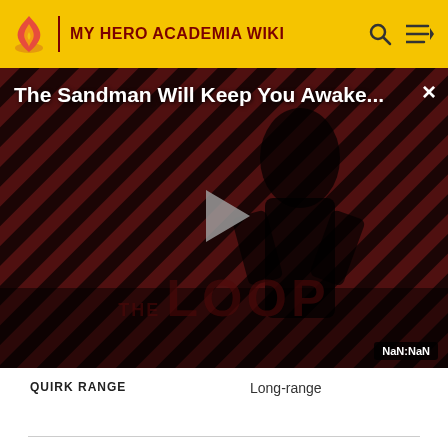MY HERO ACADEMIA WIKI
[Figure (screenshot): Video player overlay showing 'The Sandman Will Keep You Awake...' with a dark figure on a striped red-black background, play button in center, THE LOOP watermark, and NaN:NaN timestamp. Close button (X) in top right.]
| QUIRK RANGE | Long-range |
| --- | --- |
FIRST APPEARANCE